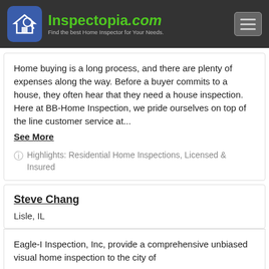Inspectopia.com — Find the best Home Inspector for Your Needs.
Home buying is a long process, and there are plenty of expenses along the way. Before a buyer commits to a house, they often hear that they need a house inspection. Here at BB-Home Inspection, we pride ourselves on top of the line customer service at...
See More
Highlights: Residential Home Inspections, Licensed & Insured
Steve Chang
Lisle, IL
Eagle-I Inspection, Inc, provide a comprehensive unbiased visual home inspection to the city of